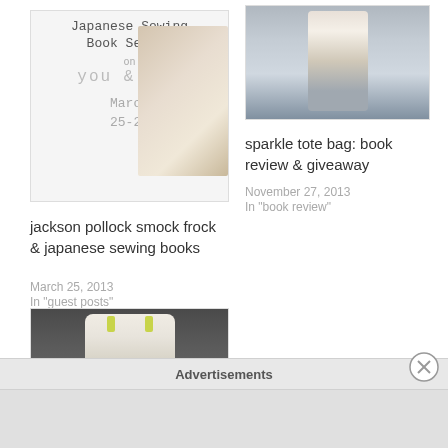[Figure (photo): Promotional image for Japanese Sewing Book Series on 'you & mie', showing a young child in a floral dress, with text 'March 25-29']
jackson pollock smock frock & japanese sewing books
March 25, 2013
In "guest posts"
[Figure (photo): Woman wearing a long cream/beige cardigan over a grey top and blue jeans, standing against a grey brick wall]
sparkle tote bag: book review & giveaway
November 27, 2013
In "book review"
[Figure (photo): A light-colored children's dress with yellow-green straps hanging against a dark grey background]
Advertisements